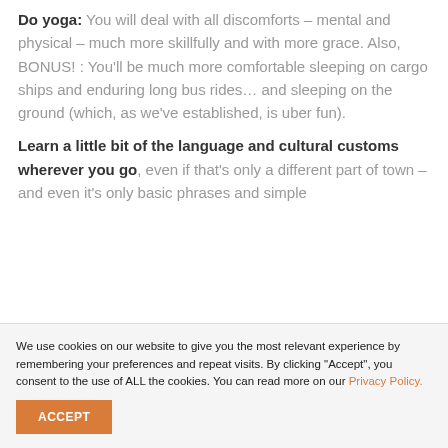Do yoga: You will deal with all discomforts – mental and physical – much more skillfully and with more grace. Also, BONUS! : You'll be much more comfortable sleeping on cargo ships and enduring long bus rides… and sleeping on the ground (which, as we've established, is uber fun).
Learn a little bit of the language and cultural customs wherever you go
, even if that's only a different part of town – and even it's only basic phrases and simple
We use cookies on our website to give you the most relevant experience by remembering your preferences and repeat visits. By clicking "Accept", you consent to the use of ALL the cookies. You can read more on our Privacy Policy.